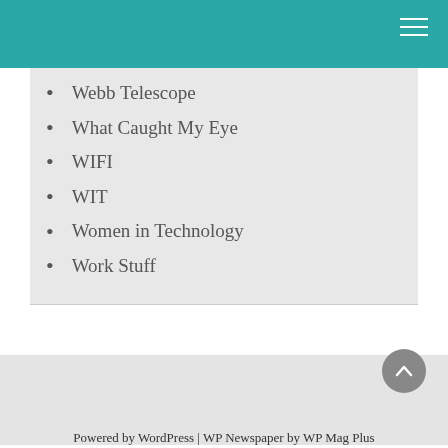Webb Telescope
What Caught My Eye
WIFI
WIT
Women in Technology
Work Stuff
Powered by WordPress | WP Newspaper by WP Mag Plus